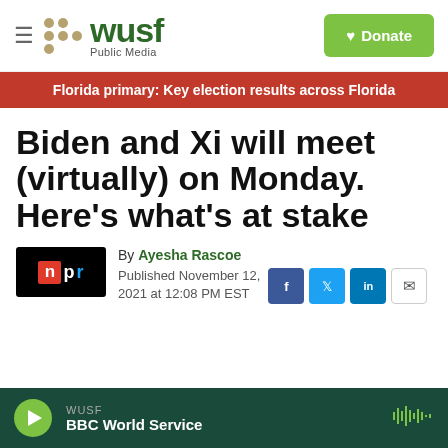WUSF Public Media | Donate
Florida primary: Key election results across Florida
Biden and Xi will meet (virtually) on Monday. Here's what's at stake
By Ayesha Rascoe
Published November 12, 2021 at 12:08 PM EST
WUSF BBC World Service